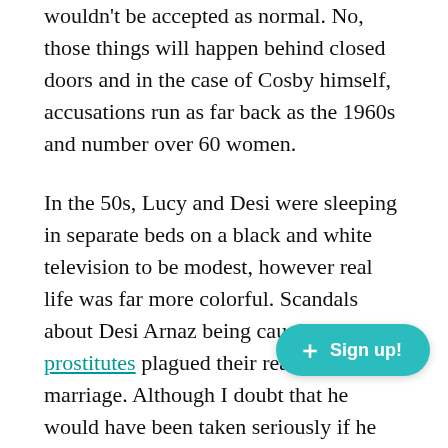wouldn't be accepted as normal. No, those things will happen behind closed doors and in the case of Cosby himself, accusations run as far back as the 1960s and number over 60 women.
In the 50s, Lucy and Desi were sleeping in separate beds on a black and white television to be modest, however real life was far more colorful. Scandals about Desi Arnaz being caught with prostitutes plagued their real life marriage. Although I doubt that he would have been taken seriously if he 'splained to Luci that their twin beds were two feet apart the whole time. The show protected their image as a hilarious loving couple.
Today, it's more normal to see any couple in the same bed on TV, but the producers, like Harvey Weinstein, preferr...